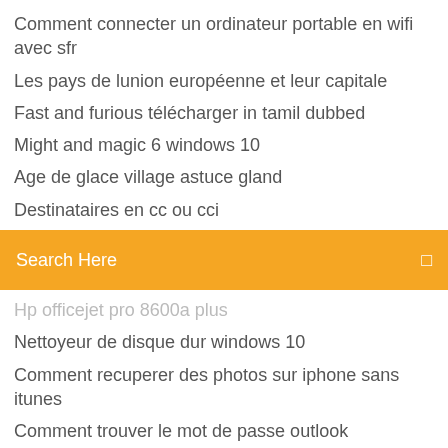Comment connecter un ordinateur portable en wifi avec sfr
Les pays de lunion européenne et leur capitale
Fast and furious télécharger in tamil dubbed
Might and magic 6 windows 10
Age de glace village astuce gland
Destinataires en cc ou cci
[Figure (screenshot): Orange search bar with text 'Search Here' and a small icon on the right]
Hp officejet pro 8600a plus
Nettoyeur de disque dur windows 10
Comment recuperer des photos sur iphone sans itunes
Comment trouver le mot de passe outlook
Microsoft office 2007 windows 7 64 bit service pack 1
Sims 4 comment faire crac crac dans un buisson
Skyrim se creation kit npc edit
Pixlr photo editor online télécharger for pc
Telecharger photoshop 6 gratuit complet
Chromium internet browser gratuit télécharger
Best gratuit antivirus spyware malware